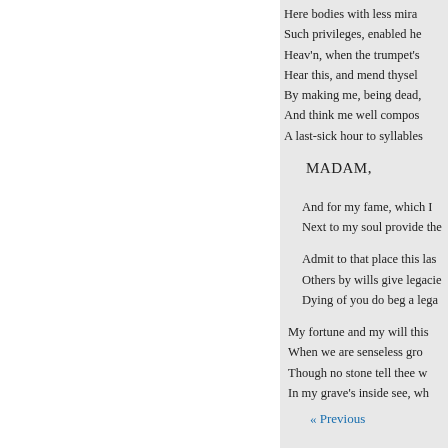Here bodies with less mira
Such privileges, enabled he
Heav'n, when the trumpet's
Hear this, and mend thysel
By making me, being dead,
And think me well compos
A last-sick hour to syllables
MADAM,
And for my fame, which I
Next to my soul provide the
Admit to that place this las
Others by wills give legacie
Dying of you do beg a lega
My fortune and my will this
When we are senseless gro
Though no stone tell thee w
In my grave's inside see, wh
« Previous